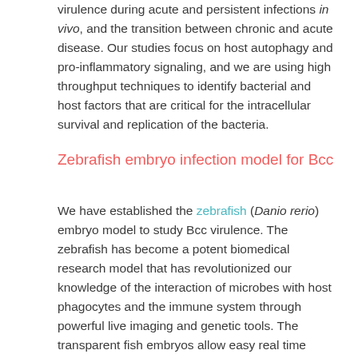virulence during acute and persistent infections in vivo, and the transition between chronic and acute disease. Our studies focus on host autophagy and pro-inflammatory signaling, and we are using high throughput techniques to identify bacterial and host factors that are critical for the intracellular survival and replication of the bacteria.
Zebrafish embryo infection model for Bcc
We have established the zebrafish (Danio rerio) embryo model to study Bcc virulence. The zebrafish has become a potent biomedical research model that has revolutionized our knowledge of the interaction of microbes with host phagocytes and the immune system through powerful live imaging and genetic tools. The transparent fish embryos allow easy real time analysis of infection with fluorescent bacteria, and in combination with transgenic reporter fish this allows for remarkable imaging of the behavior of host cells during infection. Most importantly, an innate